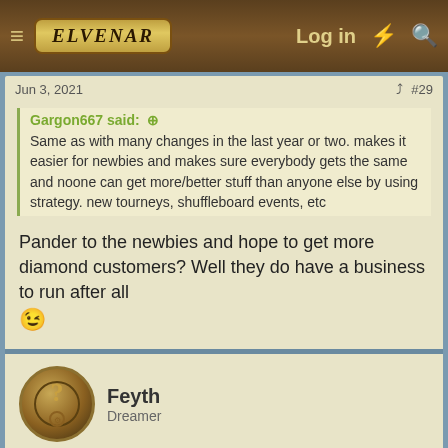Elvenar — Log in
Jun 3, 2021  #29
Gargon667 said:
Same as with many changes in the last year or two. makes it easier for newbies and makes sure everybody gets the same and noone can get more/better stuff than anyone else by using strategy. new tourneys, shuffleboard events, etc
Pander to the newbies and hope to get more diamond customers? Well they do have a business to run after all 😉
Feyth
Dreamer
Jun 3, 2021  #30
Hekata said: